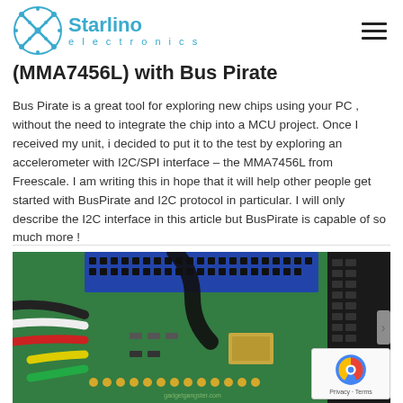Starlino electronics
(MMA7456L) with Bus Pirate
Bus Pirate is a great tool for exploring new chips using your PC , without the need to integrate the chip into a MCU project. Once I received my unit, i decided to put it to the test by exploring an accelerometer with I2C/SPI interface – the MMA7456L from Freescale. I am writing this in hope that it will help other people get started with BusPirate and I2C protocol in particular. I will only describe the I2C interface in this article but BusPirate is capable of so much more !
[Figure (photo): Close-up photo of a green PCB circuit board (Bus Pirate) with various colored wires (black, white, red, yellow, green) connected to it, along with electronic components. A reCAPTCHA badge is overlaid in the bottom-right corner.]